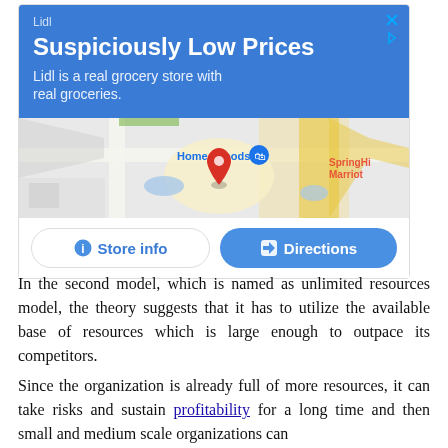[Figure (screenshot): Lidl advertisement with blue header showing 'Suspiciously Low Prices', tagline 'Lidl is a real grocery store with real groceries.', a Google Maps view showing a map location with a red pin near HomeGoods and SpringHi Marriot, and two buttons: 'Store info' and 'Directions'.]
In the second model, which is named as unlimited resources model, the theory suggests that it has to utilize the available base of resources which is large enough to outpace its competitors.
Since the organization is already full of more resources, it can take risks and sustain profitability for a long time and then small and medium scale organizations can